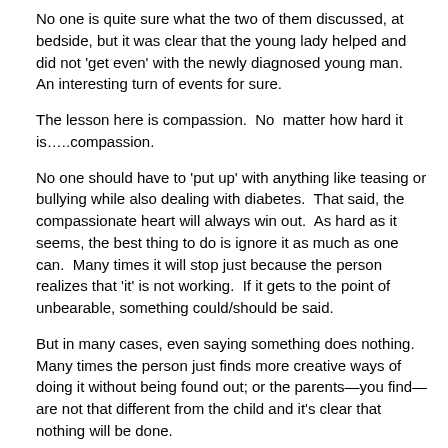No one is quite sure what the two of them discussed, at bedside, but it was clear that the young lady helped and did not 'get even' with the newly diagnosed young man.  An interesting turn of events for sure.
The lesson here is compassion.  No  matter how hard it is…..compassion.
No one should have to 'put up' with anything like teasing or bullying while also dealing with diabetes.  That said, the compassionate heart will always win out.  As hard as it seems, the best thing to do is ignore it as much as one can.  Many times it will stop just because the person realizes that 'it' is not working.  If it gets to the point of unbearable, something could/should be said.
But in many cases, even saying something does nothing.  Many times the person just finds more creative ways of doing it without being found out; or the parents—you find—are not that different from the child and it's clear that nothing will be done.
The most important thing you can teach your child is that when these things occur, it HAS NOTHING to do with them.  If they did not have diabetes, it would be the color of their hair, their clothes, their shoes, or something else.  The other thing is that they are not alone.  Even though they may not see it, others are getting it also.  It is about the person saying things and not about anyone else.  THEY HAVE THE PROBLEM.
Now all of this is nice to say but believe me I know how much your child just